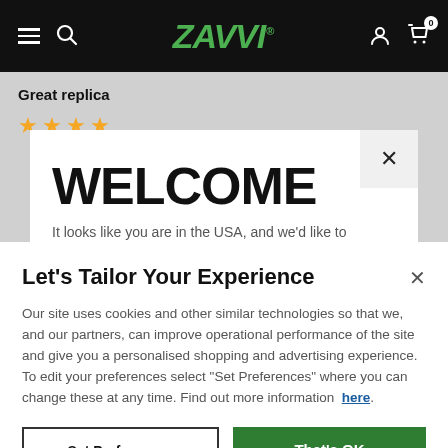[Figure (screenshot): Zavvi e-commerce website navigation bar with hamburger menu, search icon, Zavvi green italic logo, user account icon, and cart icon with 0 badge on black background]
Great replica
[Figure (illustration): Partial star rating row (4 gold stars visible) on grey background]
WELCOME
It looks like you are in the USA, and we'd like to...
Let's Tailor Your Experience
Our site uses cookies and other similar technologies so that we, and our partners, can improve operational performance of the site and give you a personalised shopping and advertising experience. To edit your preferences select "Set Preferences" where you can change these at any time. Find out more information here.
Set Preferences
That's OK